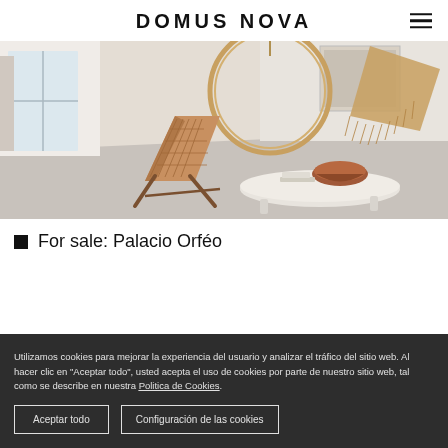DOMUS NOVA
[Figure (photo): Interior design photo showing a stylish room with a woven leather folding chair, a circular rattan hanging chair frame, a low white organic-shaped coffee table, a copper/bronze bowl, a macrame or woven textile hanging, and framed artwork on the wall. The room has white walls, grey polished concrete floor, and natural light from windows.]
For sale: Palacio Orféo
Utilizamos cookies para mejorar la experiencia del usuario y analizar el tráfico del sitio web. Al hacer clic en "Aceptar todo", usted acepta el uso de cookies por parte de nuestro sitio web, tal como se describe en nuestra Politica de Cookies.
Aceptar todo
Configuración de las cookies